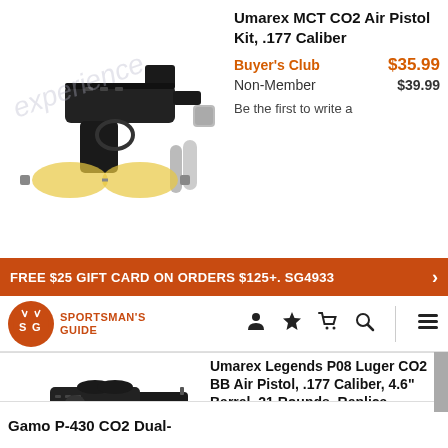Umarex MCT CO2 Air Pistol Kit, .177 Caliber
Buyer's Club $35.99 Non-Member $39.99
Be the first to write a
FREE $25 GIFT CARD ON ORDERS $125+. SG4933
[Figure (logo): Sportsman's Guide logo with orange circle and SG letters]
Umarex Legends P08 Luger CO2 BB Air Pistol, .177 Caliber, 4.6" Barrel, 21 Rounds, Replica
Buyer's Club $62.99 Non-Member $69.99
Be the first to write a review!
Gamo P-430 CO2 Dual-